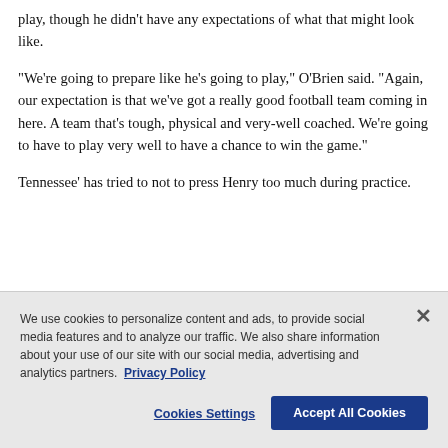play, though he didn't have any expectations of what that might look like.
“We’re going to prepare like he’s going to play,” O’Brien said. “Again, our expectation is that we’ve got a really good football team coming in here. A team that’s tough, physical and very-well coached. We’re going to have to play very well to have a chance to win the game.”
Tennessee’ has tried to not to press Henry too much during practice.
We use cookies to personalize content and ads, to provide social media features and to analyze our traffic. We also share information about your use of our site with our social media, advertising and analytics partners. Privacy Policy
Cookies Settings
Accept All Cookies